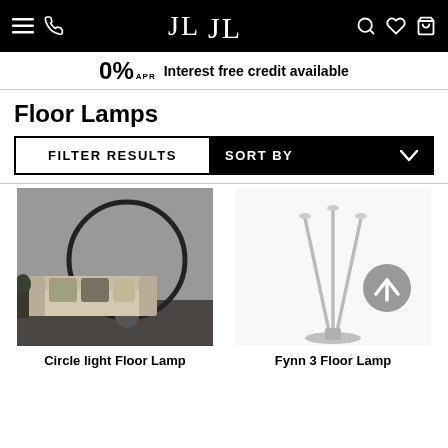Navigation bar with menu, phone, logo, search, wishlist, basket
0% APR Interest free credit available
Floor Lamps
FILTER RESULTS | SORT BY
[Figure (photo): Circle light Floor Lamp - arc floor lamp forming a full circle, placed next to a sofa in a grey room]
Circle light Floor Lamp
[Figure (photo): Fynn 3 Floor Lamp - multi-stem chrome floor lamp with 3 arching arms with lights, white background, scroll-to-top button overlay]
Fynn 3 Floor Lamp